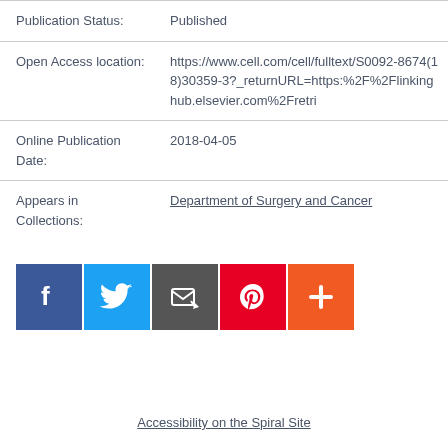| Publication Status: | Published |
| Open Access location: | https://www.cell.com/cell/fulltext/S0092-8674(18)30359-3?_returnURL=https:%2F%2Flinkinghub.elsevier.com%2Fretri |
| Online Publication Date: | 2018-04-05 |
| Appears in Collections: | Department of Surgery and Cancer |
[Figure (other): Social sharing icons: Facebook (blue), Twitter (light blue), share/email (dark grey), Pinterest (red), and a plus/more button (orange-red)]
Accessibility on the Spiral Site